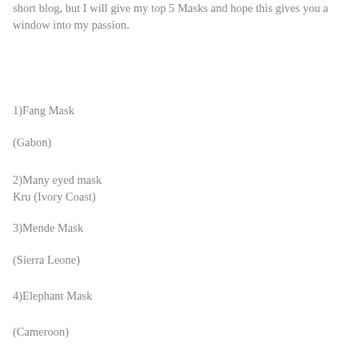short blog, but I will give my top 5 Masks and hope this gives you a window into my passion.
1)Fang Mask
(Gabon)
2)Many eyed mask
Kru (Ivory Coast)
3)Mende Mask
(Sierra Leone)
4)Elephant Mask
(Cameroon)